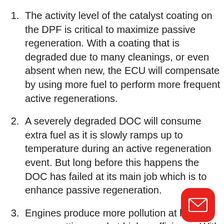The activity level of the catalyst coating on the DPF is critical to maximize passive regeneration. With a coating that is degraded due to many cleanings, or even absent when new, the ECU will compensate by using more fuel to perform more frequent active regenerations.
A severely degraded DOC will consume extra fuel as it is slowly ramps up to temperature during an active regeneration event. But long before this happens the DOC has failed at its main job which is to enhance passive regeneration.
Engines produce more pollution at higher power settings and at higher efficiency. With a properly functioning SCR catalyst the engine is allowed to run as it should without the ECU intervening to reduce power or